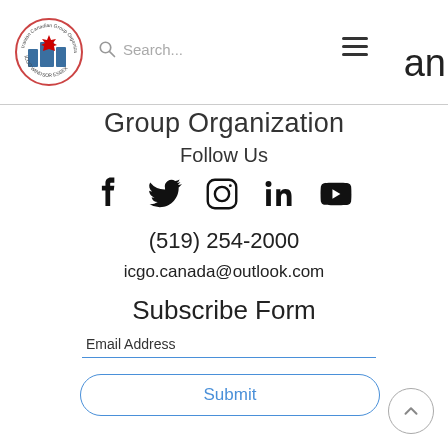[Figure (screenshot): Navigation bar with circular organization logo on the left, search bar in the middle, hamburger menu icon on the right, and partial large text 'an' visible at top right]
Group Organization
Follow Us
[Figure (infographic): Social media icons row: Facebook, Twitter, Instagram, LinkedIn, YouTube]
(519) 254-2000
icgo.canada@outlook.com
Subscribe Form
Email Address
Submit